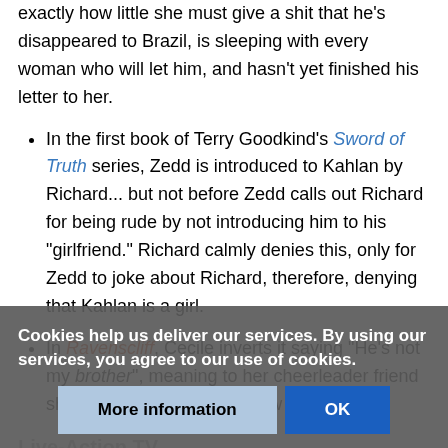exactly how little she must give a shit that he's disappeared to Brazil, is sleeping with every woman who will let him, and hasn't yet finished his letter to her.
In the first book of Terry Goodkind's Sword of Truth series, Zedd is introduced to Kahlan by Richard... but not before Zedd calls out Richard for being rude by not introducing him to his "girlfriend." Richard calmly denies this, only for Zedd to joke about Richard, therefore, denying that Kahlan is a girl.
In Ravenscliff, Cecile inverts it saying "He's not my brother", meaning to her cheerleader friend she has an option on her new stepbrother.
Live-Action TV
Supernatural: Dean denies any romance from Castiel.
Daniel Jacks... ...d as much
Cookies help us deliver our services. By using our services, you agree to our use of cookies.